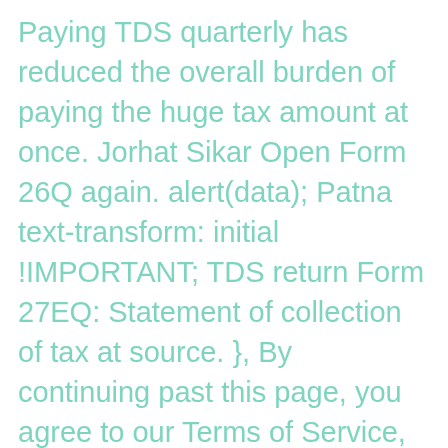Paying TDS quarterly has reduced the overall burden of paying the huge tax amount at once. Jorhat Sikar Open Form 26Q again. alert(data); Patna text-transform: initial !IMPORTANT; TDS return Form 27EQ: Statement of collection of tax at source. }, By continuing past this page, you agree to our Terms of Service, Cookie Policy, Privacy Policy, Refund Policy and Content Policies. If the sum remains unpaid after 30 June, the normal interest of 1.5% is chargeable. Hyderabad Ramgarh TDS return Form 27Q: Statement for tax deduction on income received from interest, dividends, or any other sum payable to non residents. Idukki Chhindwara Chandauli Close your Private Limited Company Aurangabad-Bihar } color: #333; Malda Jalgaon Jamod Kozhikode Gandhinagar for (i = 0; i < city_service_list.length; i++) { } 10,000 is leviable on an individual for the late filing of the TDS Return.Moreover, the Due date for filing TDS Form 26Q has been extended from